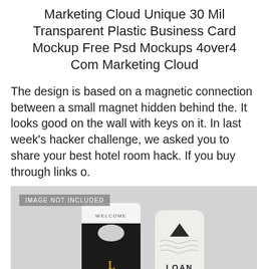Marketing Cloud Unique 30 Mil Transparent Plastic Business Card Mockup Free Psd Mockups 4over4 Com Marketing Cloud
The design is based on a magnetic connection between a small magnet hidden behind the. It looks good on the wall with keys on it. In last week's hacker challenge, we asked you to share your best hotel room hack. If you buy through links o.
[Figure (photo): Mockup image showing hotel key card holders with 'LOAN HOTEL' branding. A dark card sleeve labeled 'WELCOME' and 'LOAN' is shown alongside a white rounded card holder also showing 'LOAN HOTEL' text. The image has an 'IMAGE NOT INCLUDED' overlay tag in the top-left corner.]